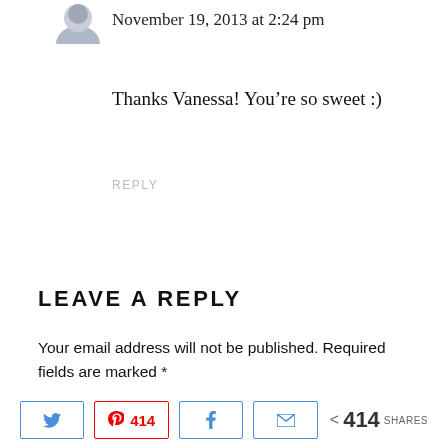November 19, 2013 at 2:24 pm
Thanks Vanessa! You’re so sweet :)
REPLY
LEAVE A REPLY
Your email address will not be published. Required fields are marked *